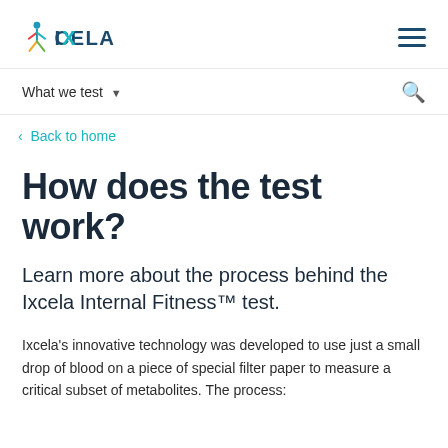IXCELA
What we test
< Back to home
How does the test work?
Learn more about the process behind the Ixcela Internal Fitness™ test.
Ixcela's innovative technology was developed to use just a small drop of blood on a piece of special filter paper to measure a critical subset of metabolites. The process: